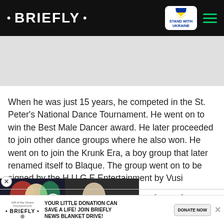• BRIEFLY •
[Figure (screenshot): Gray advertisement placeholder area]
When he was just 15 years, he competed in the St. Peter's National Dance Tournament. He went on to win the Best Male Dancer award. He later proceeded to join other dance groups where he also won. He went on to join the Krunk Era, a boy group that later renamed itself to Blaque. The group went on to be signed by the H.U.G.E Entertainment by Vusi
[Figure (screenshot): Video thumbnail with two people on left side and person with microphone on right. Caption reads: IS SHE THE REASON FOR HIS PASSING?]
Brian: The Munghana
[Figure (other): Donation banner: YOUR LITTLE DONATION CAN SAVE A LIFE! JOIN BRIEFLY NEWS BLANKET DRIVE! DONATE NOW]